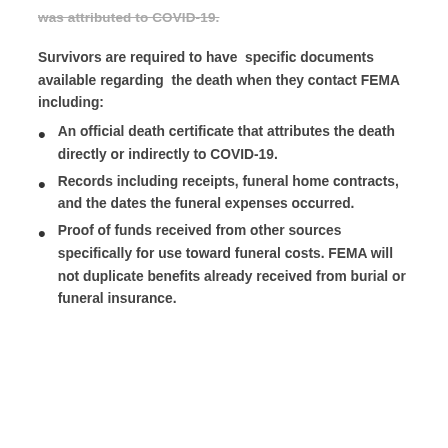was attributed to COVID-19.
Survivors are required to have specific documents available regarding the death when they contact FEMA including:
An official death certificate that attributes the death directly or indirectly to COVID-19.
Records including receipts, funeral home contracts, and the dates the funeral expenses occurred.
Proof of funds received from other sources specifically for use toward funeral costs. FEMA will not duplicate benefits already received from burial or funeral insurance.